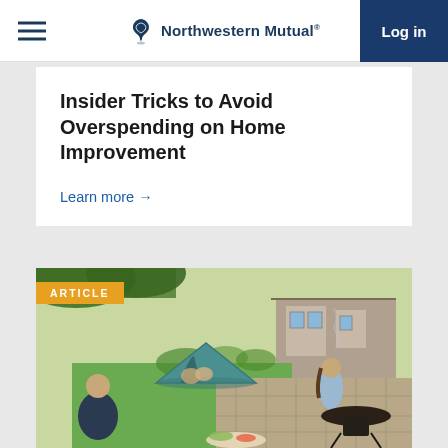Northwestern Mutual
Insider Tricks to Avoid Overspending on Home Improvement
Learn more →
[Figure (photo): Outdoor backyard scene with a family: a man sitting on a patio eating, children in a camping tent on the lawn, a woman near a fire pit grill, and a stone house in the background with trees.]